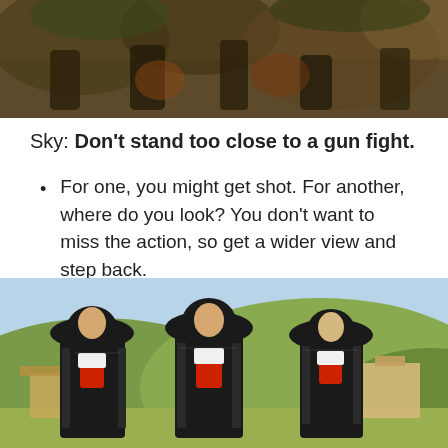[Figure (photo): A scene from a movie/show showing action — crowd scene with warm brown and green tones]
Sky: Don't stand too close to a gun fight.
For one, you might get shot. For another, where do you look? You don't want to miss the action, so get a wider view and step back.
Love their signature move.
[Figure (photo): Three men dressed as mariachis (Three Amigos) in black embroidered suits with sombreros and red scarves, standing outdoors with hills in background]